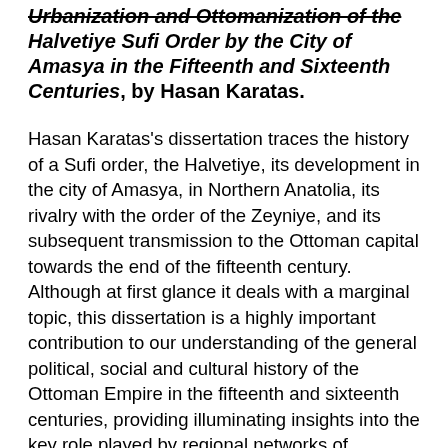Urbanization and Ottomanization of the Halvetiye Sufi Order by the City of Amasya in the Fifteenth and Sixteenth Centuries, by Hasan Karatas.
Hasan Karatas's dissertation traces the history of a Sufi order, the Halvetiye, its development in the city of Amasya, in Northern Anatolia, its rivalry with the order of the Zeyniye, and its subsequent transmission to the Ottoman capital towards the end of the fifteenth century. Although at first glance it deals with a marginal topic, this dissertation is a highly important contribution to our understanding of the general political, social and cultural history of the Ottoman Empire in the fifteenth and sixteenth centuries, providing illuminating insights into the key role played by regional networks of patronage